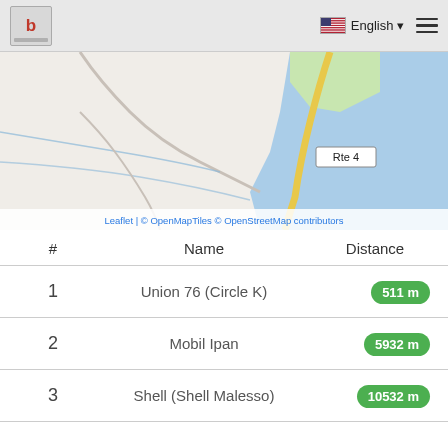b | English ☰
[Figure (map): Map showing a coastal area with roads including Rte 4 marked, with blue ocean on the right, green vegetation areas, and road networks. Map attribution: Leaflet | © OpenMapTiles © OpenStreetMap contributors.]
| # | Name | Distance |
| --- | --- | --- |
| 1 | Union 76 (Circle K) | 511 m |
| 2 | Mobil Ipan | 5932 m |
| 3 | Shell (Shell Malesso) | 10532 m |